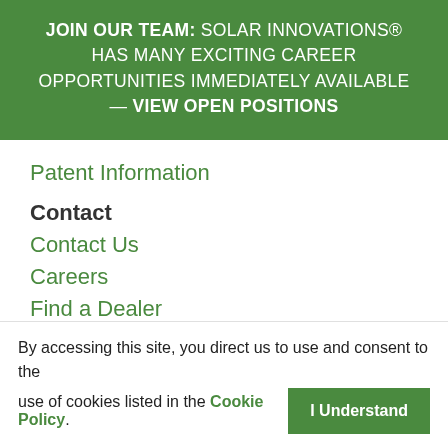JOIN OUR TEAM: SOLAR INNOVATIONS® HAS MANY EXCITING CAREER OPPORTUNITIES IMMEDIATELY AVAILABLE — VIEW OPEN POSITIONS
Patent Information
Contact
Contact Us
Careers
Find a Dealer
Call Us
1-800-618-0669
Visit Us
31 Roberts Road...
By accessing this site, you direct us to use and consent to the use of cookies listed in the Cookie Policy. I Understand